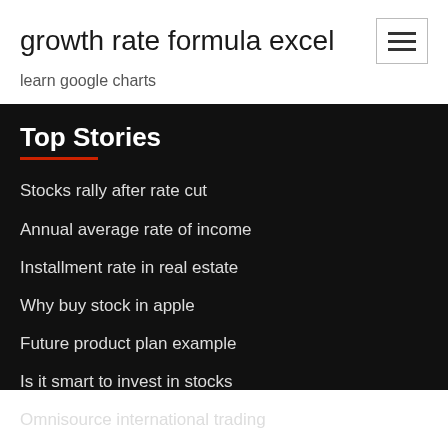growth rate formula excel
learn google charts
Top Stories
Stocks rally after rate cut
Annual average rate of income
Installment rate in real estate
Why buy stock in apple
Future product plan example
Is it smart to invest in stocks
Omnisource international trading
Options indicator for stocks
How to buy chinese stocks in canada